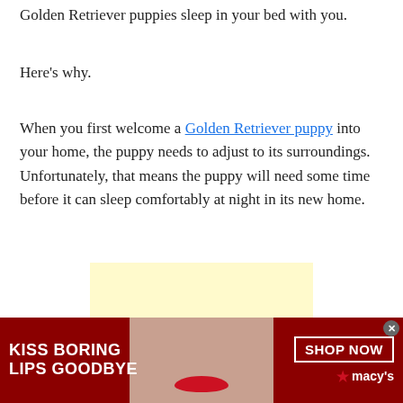Golden Retriever puppies sleep in your bed with you.
Here's why.
When you first welcome a Golden Retriever puppy into your home, the puppy needs to adjust to its surroundings. Unfortunately, that means the puppy will need some time before it can sleep comfortably at night in its new home.
[Figure (other): Yellow advertisement placeholder box with a gray box overlay, and below it a dark red banner advertisement for Macy's lipstick featuring text 'KISS BORING LIPS GOODBYE', a close-up of a woman's face with red lips, a 'SHOP NOW' button, and the Macy's star logo.]